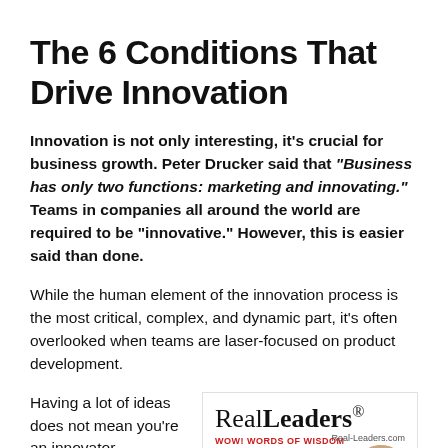The 6 Conditions That Drive Innovation
Innovation is not only interesting, it's crucial for business growth. Peter Drucker said that “Business has only two functions: marketing and innovating.” Teams in companies all around the world are required to be “innovative.” However, this is easier said than done.
While the human element of the innovation process is the most critical, complex, and dynamic part, it’s often overlooked when teams are laser-focused on product development.
Having a lot of ideas does not mean you’re an innovator.
[Figure (other): RealLeaders magazine cover snippet showing logo, tagline 'WOW! WORDS OF WISDOM', Real-Leaders.com URL, and a quote 'Without curiosity, without somebody' with a partial face photo]